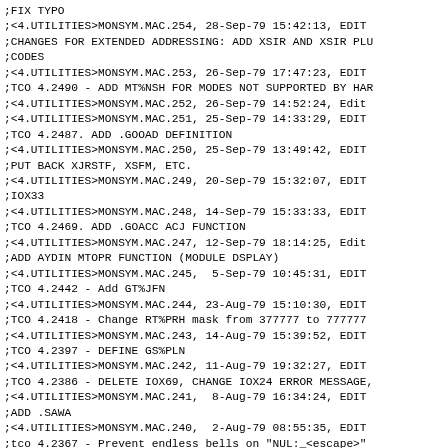;FIX TYPO
;<4.UTILITIES>MONSYM.MAC.254, 28-Sep-79 15:42:13, EDIT
;CHANGES FOR EXTENDED ADDRESSING: ADD XSIR AND XSIR PLU
;CODES
;<4.UTILITIES>MONSYM.MAC.253, 26-Sep-79 17:47:23, EDIT
;TCO 4.2490 - ADD MT%NSH FOR MODES NOT SUPPORTED BY HAR
;<4.UTILITIES>MONSYM.MAC.252, 26-Sep-79 14:52:24, Edit
;<4.UTILITIES>MONSYM.MAC.251, 25-Sep-79 14:33:29, EDIT
;TCO 4.2487. ADD .GOOAD DEFINITION
;<4.UTILITIES>MONSYM.MAC.250, 25-Sep-79 13:49:42, EDIT
;PUT BACK XJRSTF, XSFM, ETC.
;<4.UTILITIES>MONSYM.MAC.249, 20-Sep-79 15:32:07, EDIT
;IOX33
;<4.UTILITIES>MONSYM.MAC.248, 14-Sep-79 15:33:33, EDIT
;TCO 4.2469. ADD .GOACC ACJ FUNCTION
;<4.UTILITIES>MONSYM.MAC.247, 12-Sep-79 18:14:25, Edit
;ADD AYDIN MTOPR FUNCTION (MODULE DSPLAY)
;<4.UTILITIES>MONSYM.MAC.245,  5-Sep-79 10:45:31, EDIT
;TCO 4.2442 - Add GT%JFN
;<4.UTILITIES>MONSYM.MAC.244, 23-Aug-79 15:10:30, EDIT
;TCO 4.2418 - Change RT%PRH mask from 377777 to 777777
;<4.UTILITIES>MONSYM.MAC.243, 14-Aug-79 15:39:52, EDIT
;TCO 4.2397 - DEFINE GS%PLN
;<4.UTILITIES>MONSYM.MAC.242, 11-Aug-79 19:32:27, EDIT
;TCO 4.2386 - DELETE IOX69, CHANGE IOX24 ERROR MESSAGE,
;<4.UTILITIES>MONSYM.MAC.241,  8-Aug-79 16:34:24, EDIT
;ADD .SAWA
;<4.UTILITIES>MONSYM.MAC.240,  2-Aug-79 08:55:35, EDIT
;tco 4.2367 - Prevent endless bells on "NUL:_<escape>"
;<4.UTILITIES>MONSYM.MAC.239, 23-Jul-79 16:53:19, Edit